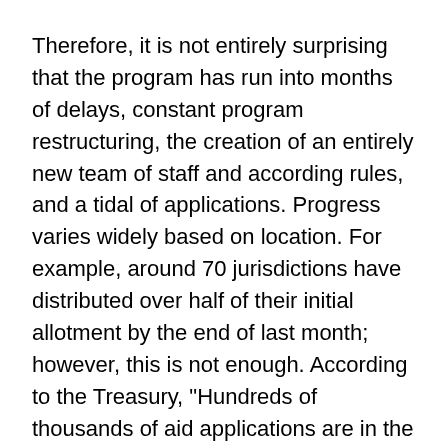Therefore, it is not entirely surprising that the program has run into months of delays, constant program restructuring, the creation of an entirely new team of staff and according rules, and a tidal of applications. Progress varies widely based on location. For example, around 70 jurisdictions have distributed over half of their initial allotment by the end of last month; however, this is not enough. According to the Treasury, "Hundreds of thousands of aid applications are in the pipeline beyond those that have already been paid... and too many grantees have yet to demonstrate sufficient progress in getting assistance to struggling tenants and landlords."
Despite federal oversight, administration officials continue to place the blame on local officials. A